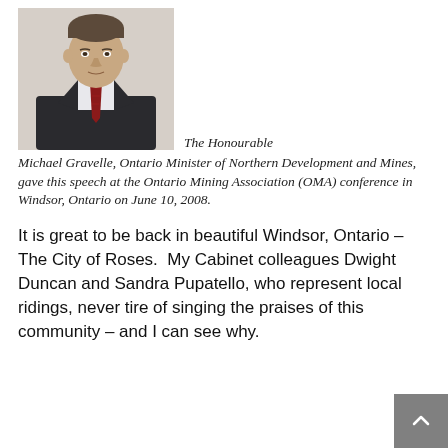[Figure (photo): Professional headshot of The Honourable Michael Gravelle, a man in a dark suit with a red striped tie.]
The Honourable Michael Gravelle, Ontario Minister of Northern Development and Mines, gave this speech at the Ontario Mining Association (OMA) conference in Windsor, Ontario on June 10, 2008.
It is great to be back in beautiful Windsor, Ontario –The City of Roses.  My Cabinet colleagues Dwight Duncan and Sandra Pupatello, who represent local ridings, never tire of singing the praises of this community – and I can see why.